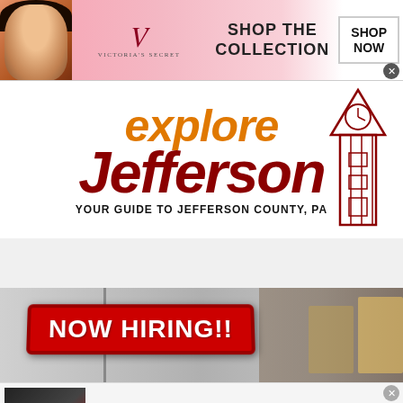[Figure (screenshot): Victoria's Secret advertisement banner with model, VS logo, 'SHOP THE COLLECTION' text, and 'SHOP NOW' button]
[Figure (logo): Explore Jefferson logo — 'explore' in orange italic and 'Jefferson' in dark red italic with clock tower illustration, subtitle: YOUR GUIDE TO JEFFERSON COUNTY, PA]
[Figure (screenshot): Dark navigation bar with hamburger menu icon]
[Figure (photo): NOW HIRING!! red badge sign on a warehouse/store background]
[Figure (screenshot): Ad widget: 'Casinos Don't Expect You to Do This; but' with image, n/a, daily-winners.com source, and blue arrow button]